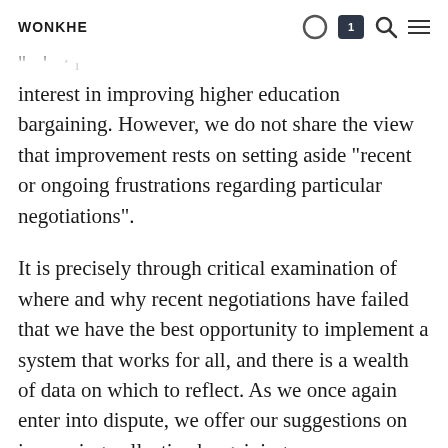WONKHE
interest in improving higher education bargaining. However, we do not share the view that improvement rests on setting aside “recent or ongoing frustrations regarding particular negotiations”.
It is precisely through critical examination of where and why recent negotiations have failed that we have the best opportunity to implement a system that works for all, and there is a wealth of data on which to reflect. As we once again enter into dispute, we offer our suggestions on improving collective bargaining.